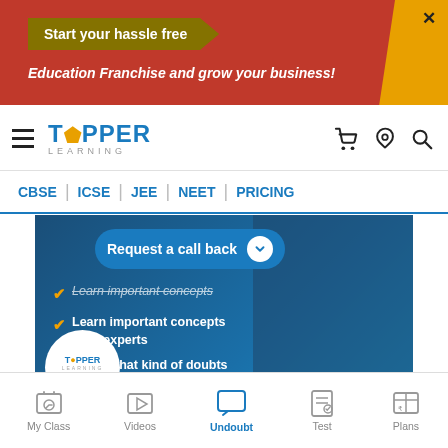[Figure (screenshot): TopperLearning website screenshot showing top ad banner with 'Start your hassle free Education Franchise and grow your business!' promo, navigation bar with Topper Learning logo, menu with CBSE, ICSE, JEE, NEET, PRICING links, a promotional banner with 'Request a call back', checkmarks listing benefits, JOIN NOW button, Topper Learning logo, a bottom ad strip, and a bottom navigation bar with My Class, Videos, Undoubt, Test, Plans tabs.]